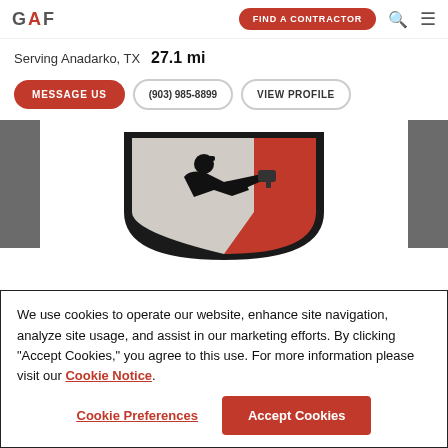GAF | FIND A CONTRACTOR
Serving Anadarko, TX  27.1 mi
MESSAGE US | (903) 985-8899 | VIEW PROFILE
[Figure (logo): GAF shield logo with silhouette of a roofer using a nail gun]
We use cookies to operate our website, enhance site navigation, analyze site usage, and assist in our marketing efforts. By clicking "Accept Cookies," you agree to this use. For more information please visit our Cookie Notice.
Cookie Preferences | Accept Cookies